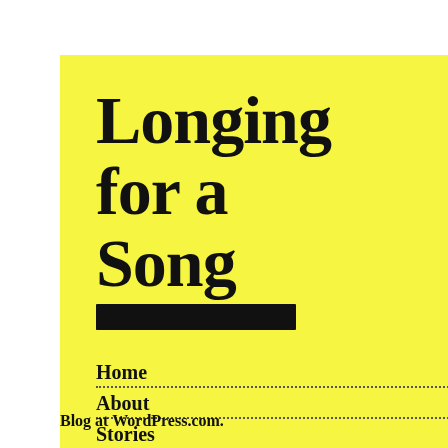Longing for a Song
David Eason
Home
About
Stories
Scenes
Blog at WordPress.com.
the story o after the O
John and L Russell the others. Th is also abo one of her sweep up.
Lois was b couple in 1 have never and unloa hung out a on as the s violence, a what Bedf a Wonderf
Over the y